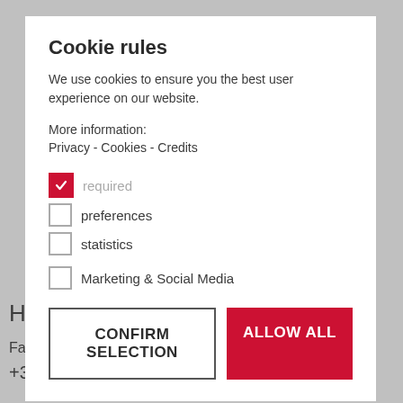Cookie rules
We use cookies to ensure you the best user experience on our website.
More information:
Privacy - Cookies - Credits
required (checked)
preferences (unchecked)
statistics (unchecked)
Marketing & Social Media (unchecked)
CONFIRM SELECTION
ALLOW ALL
Hanslerhof
Farm holidays
+39 347 2782300